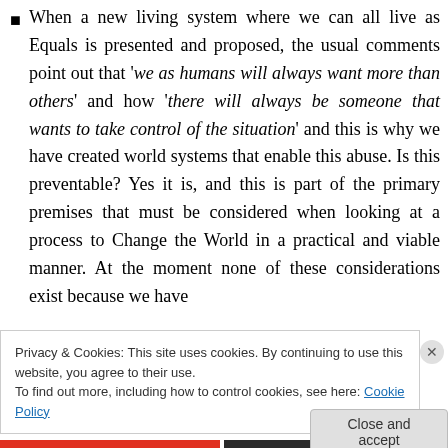When a new living system where we can all live as Equals is presented and proposed, the usual comments point out that 'we as humans will always want more than others' and how 'there will always be someone that wants to take control of the situation' and this is why we have created world systems that enable this abuse. Is this preventable? Yes it is, and this is part of the primary premises that must be considered when looking at a process to Change the World in a practical and viable manner. At the moment none of these considerations exist because we have
Privacy & Cookies: This site uses cookies. By continuing to use this website, you agree to their use.
To find out more, including how to control cookies, see here: Cookie Policy
Close and accept